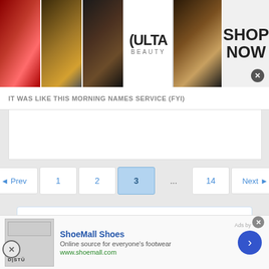[Figure (photo): Ulta Beauty advertisement banner with makeup images and shop now call-to-action]
IT WAS LIKE THIS MORNING NAMES SERVICE (FYI)
[Figure (screenshot): Pagination navigation with Prev, 1, 2, 3 (active), ..., 14, Next buttons]
You must log in or register to reply here.
[Figure (screenshot): Prediction Contest section with black video area and blue header]
[Figure (photo): ShoeMall Shoes advertisement: Online source for everyone's footwear, www.shoemall.com]